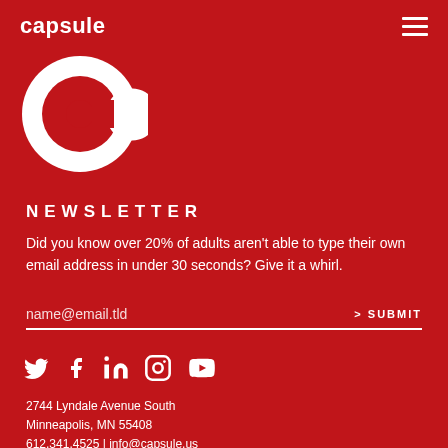capsule
[Figure (logo): Capsule brand icon — white letter C inside a speech bubble circle on red background]
NEWSLETTER
Did you know over 20% of adults aren't able to type their own email address in under 30 seconds? Give it a whirl.
name@email.tld   > SUBMIT
[Figure (infographic): Row of social media icons: Twitter, Facebook, LinkedIn, Instagram, YouTube]
2744 Lyndale Avenue South
Minneapolis, MN 55408
612.341.4525 | info@capsule.us